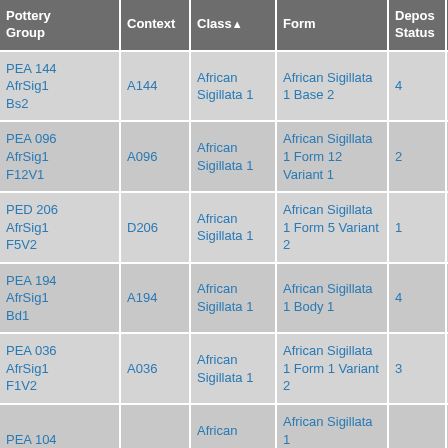| Pottery Group | Context | Class▲ | Form | Depos Status | R Ct | R EV |
| --- | --- | --- | --- | --- | --- | --- |
| PEA 144 AfrSig1 Bs2 | A144 | African Sigillata 1 | African Sigillata 1 Base 2 | 4 |  |  |
| PEA 096 AfrSig1 F12V1 | A096 | African Sigillata 1 | African Sigillata 1 Form 12 Variant 1 | 2 | 3 | 3 |
| PED 206 AfrSig1 F5V2 | D206 | African Sigillata 1 | African Sigillata 1 Form 5 Variant 2 | 1 | 2 | 2 |
| PEA 194 AfrSig1 Bd1 | A194 | African Sigillata 1 | African Sigillata 1 Body 1 | 4 |  |  |
| PEA 036 AfrSig1 F1V2 | A036 | African Sigillata 1 | African Sigillata 1 Form 1 Variant 2 | 3 | 1 | 1 |
| PEA 104 |  | African … | African Sigillata 1 … |  |  |  |